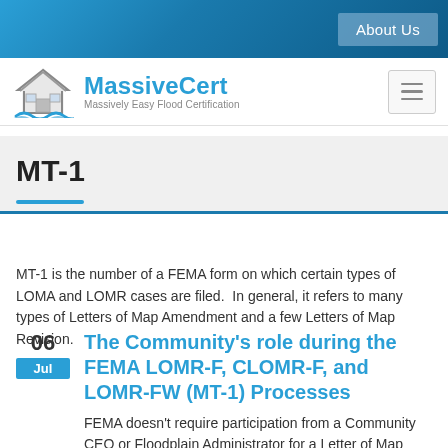About Us
[Figure (logo): MassiveCert logo with house/wave icon and tagline 'Massively Easy Flood Certification']
MT-1
MT-1 is the number of a FEMA form on which certain types of LOMA and LOMR cases are filed.  In general, it refers to many types of Letters of Map Amendment and a few Letters of Map Revision.
06
Jul
The Community's role during the FEMA LOMR-F, CLOMR-F, and LOMR-FW (MT-1) Processes
FEMA doesn't require participation from a Community CEO or Floodplain Administrator for a Letter of Map Amendment